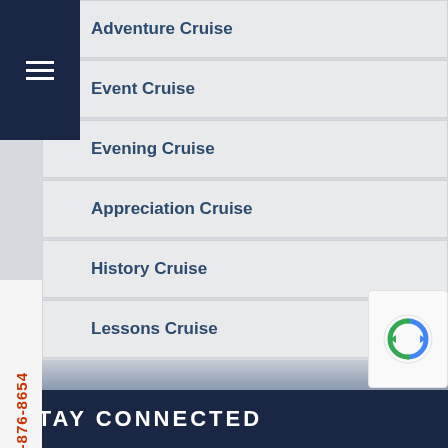[Figure (other): Hamburger menu icon (three white horizontal lines on dark navy background)]
Adventure Cruise
Event Cruise
Evening Cruise
Appreciation Cruise
History Cruise
Lessons Cruise
Waterfront Real Estate Tour
Boat Buyer Cruise
757-876-8654
STAY CONNECTED